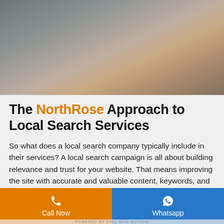[Figure (photo): Close-up photo of a person's hand holding a smartphone outdoors, blurred background.]
The NorthRose Approach to Local Search Services
So what does a local search company typically include in their services? A local search campaign is all about building relevance and trust for your website. That means improving the site with accurate and valuable content, keywords, and code.
Some of these key tasks and services include:
Call Now | Whatsapp | POWERED BY CALL NOW BUTTON